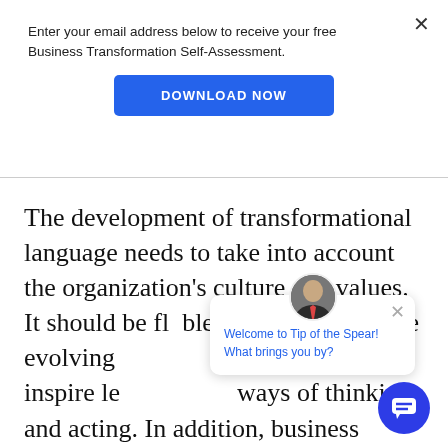Enter your email address below to receive your free Business Transformation Self-Assessment.
[Figure (other): Blue 'DOWNLOAD NOW' button]
The development of transformational language needs to take into account the organization's culture and values. It should be flexible enough to meet the evolving... should also inspire... ways of thinking and acting. In addition, business executives should be capable of communicating effectively and persuasively within a professional context.
[Figure (other): Chat widget overlay with avatar, close button, and text: Welcome to Tip of the Spear! What brings you by?]
[Figure (other): Blue circular chat bubble button in bottom right]